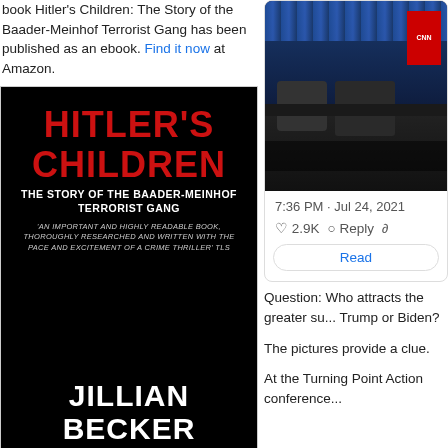book Hitler's Children: The Story of the Baader-Meinhof Terrorist Gang has been published as an ebook. Find it now at Amazon.
[Figure (photo): Book cover for 'Hitler's Children: The Story of the Baader-Meinhof Terrorist Gang' by Jillian Becker. Black background with red title text and white author name.]
Recent Comments
bahis oyna on Obama the anti-semite
[Figure (screenshot): Screenshot of a tweet showing a stage scene photo, possibly CNN event. Shows timestamp 7:36 PM · Jul 24, 2021, with 2.9K likes, Reply button, and a Read more button.]
Question: Who attracts the greater su... Trump or Biden?
The pictures provide a clue.
At the Turning Point Action conference...